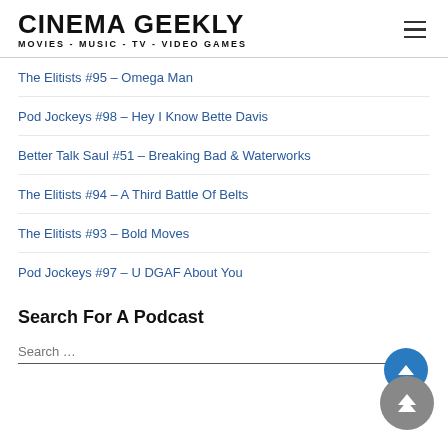CINEMA GEEKLY — MOVIES - MUSIC - TV - VIDEO GAMES
The Elitists #95 – Omega Man
Pod Jockeys #98 – Hey I Know Bette Davis
Better Talk Saul #51 – Breaking Bad & Waterworks
The Elitists #94 – A Third Battle Of Belts
The Elitists #93 – Bold Moves
Pod Jockeys #97 – U DGAF About You
Search For A Podcast
Search ...